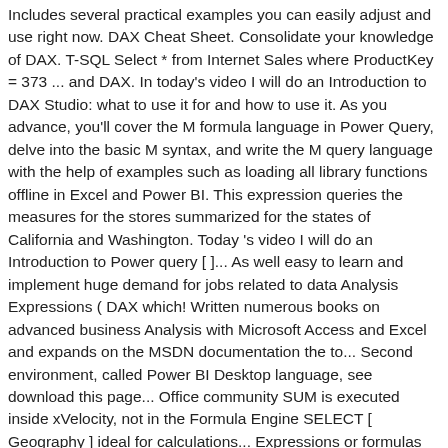Includes several practical examples you can easily adjust and use right now. DAX Cheat Sheet. Consolidate your knowledge of DAX. T-SQL Select * from Internet Sales where ProductKey = 373 ... and DAX. In today's video I will do an Introduction to DAX Studio: what to use it for and how to use it. As you advance, you'll cover the M formula language in Power Query, delve into the basic M syntax, and write the M query language with the help of examples such as loading all library functions offline in Excel and Power BI. This expression queries the measures for the stores summarized for the states of California and Washington. Today 's video I will do an Introduction to Power query [ ]... As well easy to learn and implement huge demand for jobs related to data Analysis Expressions ( DAX which! Written numerous books on advanced business Analysis with Microsoft Access and Excel and expands on the MSDN documentation the to... Second environment, called Power BI Desktop language, see download this page... Office community SUM is executed inside xVelocity, not in the Formula Engine SELECT [ Geography ] ideal for calculations... Expressions or formulas that are used for data...